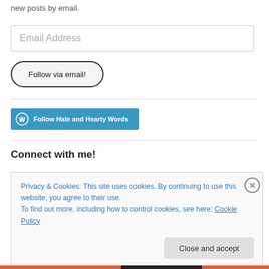new posts by email.
[Figure (screenshot): Email Address input field - a rectangular text input box with placeholder text 'Email Address' in light gray]
[Figure (screenshot): Follow via email! button - a rounded pill-shaped button with dark border and text 'Follow via email!']
[Figure (screenshot): WordPress Follow button - a blue/teal button with WordPress logo icon and text 'Follow Hale and Hearty Words']
Connect with me!
Privacy & Cookies: This site uses cookies. By continuing to use this website, you agree to their use.
To find out more, including how to control cookies, see here: Cookie Policy
[Figure (screenshot): Close and accept button - a light gray rounded rectangle button with text 'Close and accept']